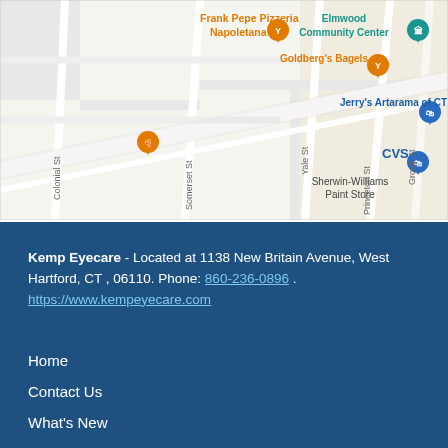[Figure (map): Google Maps screenshot showing area around 1138 New Britain Avenue, West Hartford, CT. Visible landmarks include Frank Pepe Pizzeria Napoletana, Goldberg's Bagels, Jerry's Artarama of CT, Elmwood Community Center, CVS, and Sherwin-Williams Paint Store. Streets visible include Colonial St, Somerset St, Yale St, Princeton St, and Grove St.]
Kemp Eyecare - Located at 1138 New Britain Avenue, West Hartford, CT , 06110. Phone: 860-236-0896 . https://www.kempeyecare.com
Home
Contact Us
What's New